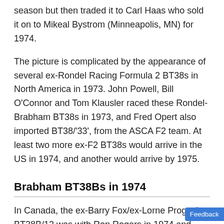season but then traded it to Carl Haas who sold it on to Mikeal Bystrom (Minneapolis, MN) for 1974.
The picture is complicated by the appearance of several ex-Rondel Racing Formula 2 BT38s in North America in 1973. John Powell, Bill O'Connor and Tom Klausler raced these Rondel-Brabham BT38s in 1973, and Fred Opert also imported BT38/'33', from the ASCA F2 team. At least two more ex-F2 BT38s would arrive in the US in 1974, and another would arrive by 1975.
Brabham BT38Bs in 1974
In Canada, the ex-Barry Fox/ex-Lorne Progosh BT38B/12 was with Ron Rogers in 1974 and 1975, and Peter Overing retained his ex-Eligio Siconolfi BT38B/13 for Reg Scullion to drive in 1974. In Northeast Division, the putative Opert hire car disappeared; Jonathan Farkas's little-used car is unknown after June 1973; Peter Knoll's